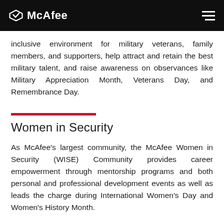McAfee
inclusive environment for military veterans, family members, and supporters, help attract and retain the best military talent, and raise awareness on observances like Military Appreciation Month, Veterans Day, and Remembrance Day.
Women in Security
As McAfee’s largest community, the McAfee Women in Security (WISE) Community provides career empowerment through mentorship programs and both personal and professional development events as well as leads the charge during International Women’s Day and Women’s History Month.